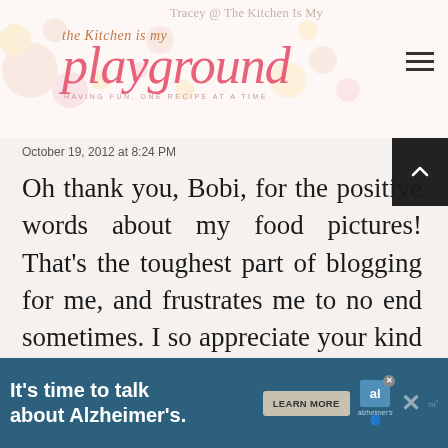Tracey @ The Kitchen Is My Playground — the Kitchen is my playground — HAVING FUN, ONE RECIPE AT A TIME
October 19, 2012 at 8:24 PM
Oh thank you, Bobi, for the positive words about my food pictures! That's the toughest part of blogging for me, and frustrates me to no end sometimes. I so appreciate your kind words!
Julia Kendrick
[Figure (screenshot): Ad banner: It's time to talk about Alzheimer's. LEARN MORE. Alzheimer's Association logo.]